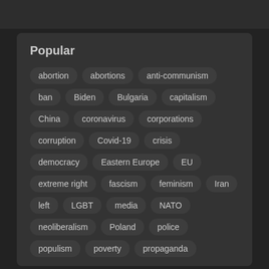Popular
abortion
abortions
anti-communism
ban
Biden
Bulgaria
capitalism
China
coronavirus
corporations
corruption
Covid-19
crisis
democracy
Eastern Europe
EU
extreme right
fascism
feminism
Iran
left
LGBT
media
NATO
neoliberalism
Poland
police
populism
poverty
propaganda